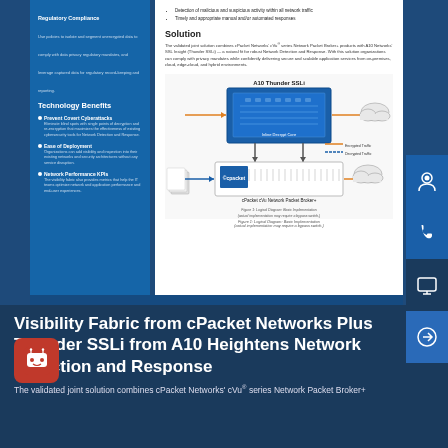Regulatory Compliance
Use policies to isolate and segment unencrypted data to comply with data privacy regulatory mandates, and leverage captured data for regulatory record-keeping and reporting.
Technology Benefits
Prevent Covert Cyberattacks
Eliminate blind spots with single points of decryption and re-encryption that maximizes the effectiveness of existing cybersecurity tools for Network Detection and Response.
Ease of Deployment
Organizations can add visibility and inspection into their existing networks and security architectures without any service disruption.
Network Performance KPIs
The visibility fabric also provides metrics that help the IT teams optimize network and application performance and end-user experiences.
Detection of malicious and suspicious activity within all network traffic
Timely and appropriate manual and/or automated responses
Solution
The validated joint solution combines cPacket Networks' cVu® series Network Packet Broker+ products with A10 Networks' SSL Insight (Thunder SSLi) — a natural fit for robust Network Detection and Response. With this solution organizations can comply with privacy mandates while confidently delivering secure and scalable application services from on-premises, cloud, edge-cloud, and hybrid environments.
[Figure (engineering-diagram): Logical diagram showing A10 Thunder SSLi connected to cPacket cVu Network Packet Broker+, with arrows indicating Encrypted Traffic and Decrypted Traffic flows to/from a cloud icon and network devices. Figure 1: Logical Diagram: Basic Implementation (actual implementation may require a bypass switch).]
Figure 1: Logical Diagram: Basic Implementation (actual implementation may require a bypass switch.)
Visibility Fabric from cPacket Networks Plus Thunder SSLi from A10 Heightens Network Detection and Response
The validated joint solution combines cPacket Networks' cVu® series Network Packet Broker+